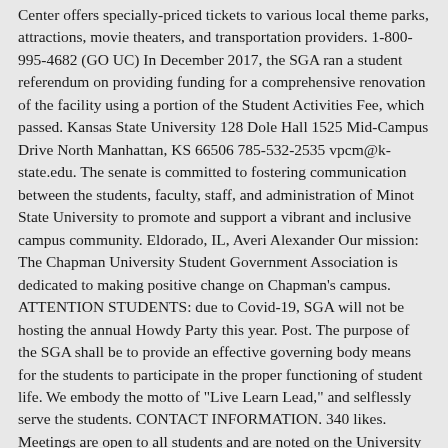Center offers specially-priced tickets to various local theme parks, attractions, movie theaters, and transportation providers. 1-800-995-4682 (GO UC) In December 2017, the SGA ran a student referendum on providing funding for a comprehensive renovation of the facility using a portion of the Student Activities Fee, which passed. Kansas State University 128 Dole Hall 1525 Mid-Campus Drive North Manhattan, KS 66506 785-532-2535 vpcm@k-state.edu. The senate is committed to fostering communication between the students, faculty, staff, and administration of Minot State University to promote and support a vibrant and inclusive campus community. Eldorado, IL, Averi Alexander Our mission: The Chapman University Student Government Association is dedicated to making positive change on Chapman's campus. ATTENTION STUDENTS: due to Covid-19, SGA will not be hosting the annual Howdy Party this year. Post. The purpose of the SGA shall be to provide an effective governing body means for the students to participate in the proper functioning of student life. We embody the motto of "Live Learn Lead," and selflessly serve the students. CONTACT INFORMATION. 340 likes. Meetings are open to all students and are noted on the University calendar. As an organization, we are committed to making each student's opinions and concerns heard in the administration. Site Map policies and sponsoring initiatives that